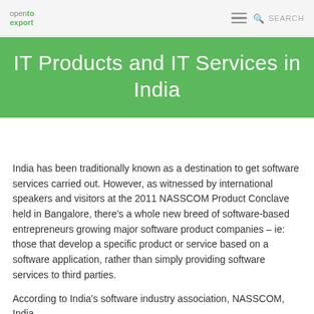open to export — SEARCH
IT Products and IT Services in India
India has been traditionally known as a destination to get software services carried out. However, as witnessed by international speakers and visitors at the 2011 NASSCOM Product Conclave held in Bangalore, there’s a whole new breed of software-based entrepreneurs growing major software product companies – ie: those that develop a specific product or service based on a software application, rather than simply providing software services to third parties.
According to India’s software industry association, NASSCOM, India